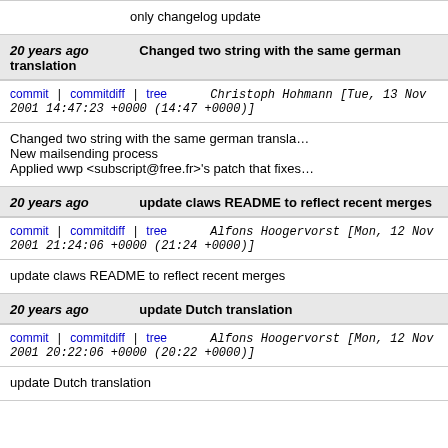only changelog update
20 years ago   Changed two string with the same german translation
commit | commitdiff | tree   Christoph Hohmann [Tue, 13 Nov 2001 14:47:23 +0000 (14:47 +0000)]
Changed two string with the same german transla...
New mailsending process
Applied wwp <subscript@free.fr>'s patch that fixes...
20 years ago   update claws README to reflect recent merges
commit | commitdiff | tree   Alfons Hoogervorst [Mon, 12 Nov 2001 21:24:06 +0000 (21:24 +0000)]
update claws README to reflect recent merges
20 years ago   update Dutch translation
commit | commitdiff | tree   Alfons Hoogervorst [Mon, 12 Nov 2001 20:22:06 +0000 (20:22 +0000)]
update Dutch translation